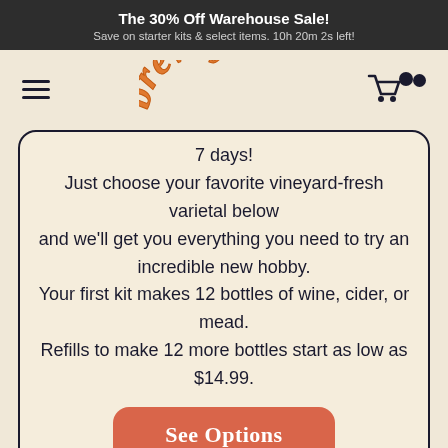The 30% Off Warehouse Sale! Save on starter kits & select items. 10h 20m 2s left!
[Figure (logo): Brewsy logo in orange retro script font with hamburger menu icon on left and cart icon on right]
7 days!
Just choose your favorite vineyard-fresh varietal below and we'll get you everything you need to try an incredible new hobby.
Your first kit makes 12 bottles of wine, cider, or mead.
Refills to make 12 more bottles start as low as $14.99.
See Options
Win a $1,000 Package!
refills